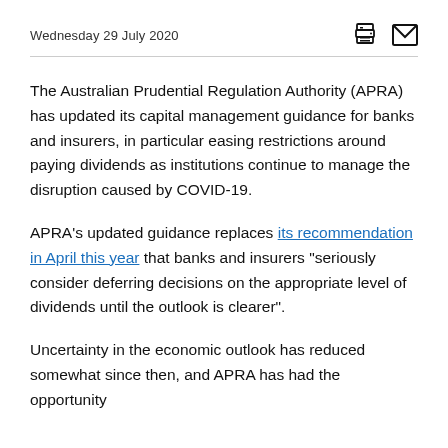Wednesday 29 July 2020
The Australian Prudential Regulation Authority (APRA) has updated its capital management guidance for banks and insurers, in particular easing restrictions around paying dividends as institutions continue to manage the disruption caused by COVID-19.
APRA's updated guidance replaces its recommendation in April this year that banks and insurers "seriously consider deferring decisions on the appropriate level of dividends until the outlook is clearer".
Uncertainty in the economic outlook has reduced somewhat since then, and APRA has had the opportunity